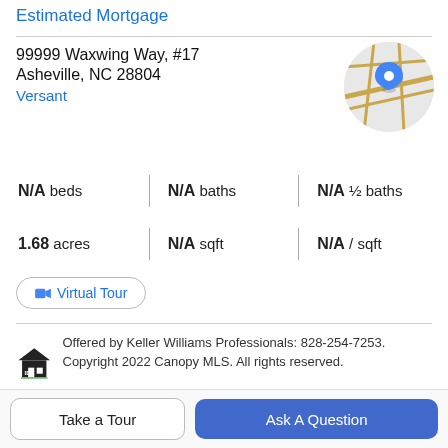Estimated Mortgage
99999 Waxwing Way, #17
Asheville, NC 28804
Versant
[Figure (map): Circular map thumbnail showing road map with a blue location pin marker]
N/A beds | N/A baths | N/A ½ baths
1.68 acres | N/A sqft | N/A / sqft
Virtual Tour
Offered by Keller Williams Professionals: 828-254-7253. Copyright 2022 Canopy MLS. All rights reserved.
Property Description
Take a Tour
Ask A Question